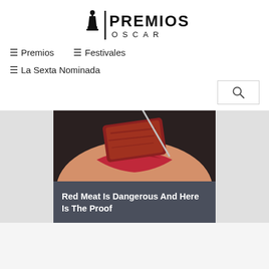[Figure (logo): Premios Oscar logo with Oscar statuette icon and text PREMIOS OSCAR]
≡ Premios
≡ Festivales
≡ La Sexta Nominada
[Figure (photo): Close-up of a person with red lips about to eat a piece of red meat on a fork]
Red Meat Is Dangerous And Here Is The Proof